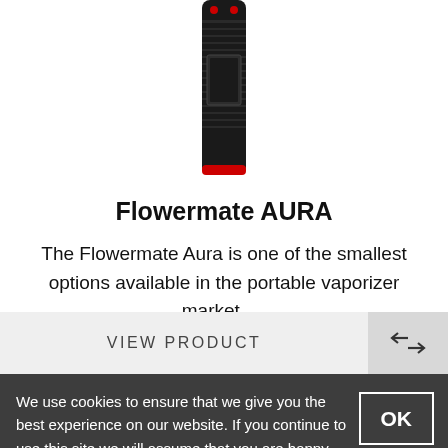[Figure (photo): A tall, slim black and red vaporizer pen device (Flowermate AURA) shown vertically against a white background, partially cropped at the top.]
Flowermate AURA
The Flowermate Aura is one of the smallest options available in the portable vaporizer market. ...
VIEW PRODUCT
We use cookies to ensure that we give you the best experience on our website. If you continue to use this site we will assume that you are happy with it.